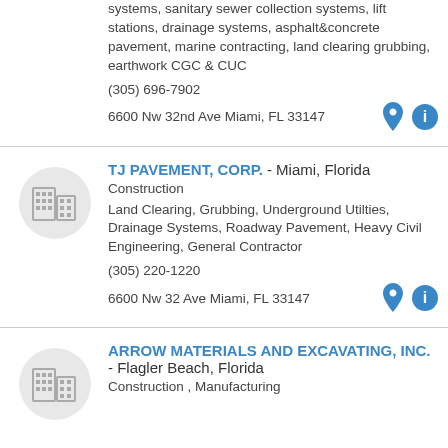systems, sanitary sewer collection systems, lift stations, drainage systems, asphalt&concrete pavement, marine contracting, land clearing grubbing, earthwork CGC & CUC
(305) 696-7902
6600 Nw 32nd Ave Miami, FL 33147
TJ PAVEMENT, CORP. - Miami, Florida
Construction
Land Clearing, Grubbing, Underground Utilties, Drainage Systems, Roadway Pavement, Heavy Civil Engineering, General Contractor
(305) 220-1220
6600 Nw 32 Ave Miami, FL 33147
ARROW MATERIALS AND EXCAVATING, INC. - Flagler Beach, Florida
Construction , Manufacturing